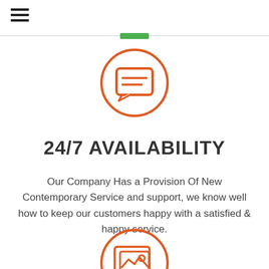[Figure (illustration): Orange circle outline with a chat/message bubble icon inside (showing two horizontal lines representing text)]
24/7 AVAILABILITY
Our Company Has a Provision Of New Contemporary Service and support, we know well how to keep our customers happy with a satisfied & happy service.
[Figure (illustration): Orange circle outline with an image/gallery icon inside (showing a landscape picture frame with a mountain and sun)]